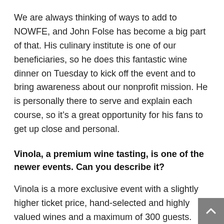We are always thinking of ways to add to NOWFE, and John Folse has become a big part of that. His culinary institute is one of our beneficiaries, so he does this fantastic wine dinner on Tuesday to kick off the event and to bring awareness about our nonprofit mission. He is personally there to serve and explain each course, so it's a great opportunity for his fans to get up close and personal.
Vinola, a premium wine tasting, is one of the newer events. Can you describe it?
Vinola is a more exclusive event with a slightly higher ticket price, hand-selected and highly valued wines and a maximum of 300 guests. This year, NOWFE'S